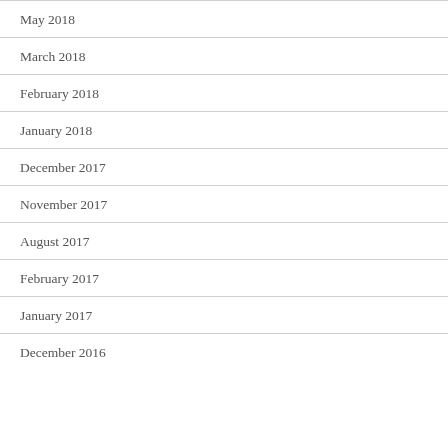May 2018
March 2018
February 2018
January 2018
December 2017
November 2017
August 2017
February 2017
January 2017
December 2016